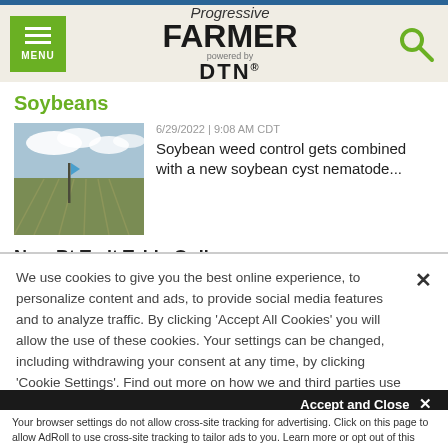[Figure (logo): Progressive Farmer powered by DTN logo with menu button and search icon in navigation bar]
Soybeans
[Figure (photo): Field of soybean rows with blue flag stake and cloudy sky]
6/29/2022 | 9:08 AM CDT
Soybean weed control gets combined with a new soybean cyst nematode...
New Bt Trait Table Online
We use cookies to give you the best online experience, to personalize content and ads, to provide social media features and to analyze traffic. By clicking 'Accept All Cookies' you will allow the use of these cookies. Your settings can be changed, including withdrawing your consent at any time, by clicking 'Cookie Settings'. Find out more on how we and third parties use cookies in our  Cookie Policy
Accept and Close ×
Your browser settings do not allow cross-site tracking for advertising. Click on this page to allow AdRoll to use cross-site tracking to tailor ads to you. Learn more or opt out of this AdRoll tracking by clicking here. This message only appears once.